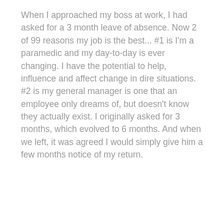When I approached my boss at work, I had asked for a 3 month leave of absence. Now 2 of 99 reasons my job is the best... #1 is I'm a paramedic and my day-to-day is ever changing. I have the potential to help, influence and affect change in dire situations. #2 is my general manager is one that an employee only dreams of, but doesn't know they actually exist. I originally asked for 3 months, which evolved to 6 months. And when we left, it was agreed I would simply give him a few months notice of my return.